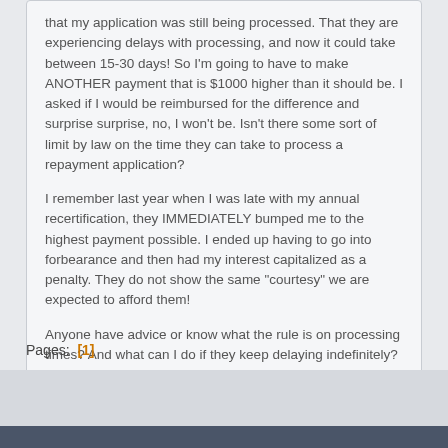that my application was still being processed. That they are experiencing delays with processing, and now it could take between 15-30 days! So I'm going to have to make ANOTHER payment that is $1000 higher than it should be. I asked if I would be reimbursed for the difference and surprise surprise, no, I won't be. Isn't there some sort of limit by law on the time they can take to process a repayment application?

I remember last year when I was late with my annual recertification, they IMMEDIATELY bumped me to the highest payment possible. I ended up having to go into forbearance and then had my interest capitalized as a penalty. They do not show the same "courtesy" we are expected to afford them!

Anyone have advice or know what the rule is on processing times? And what can I do if they keep delaying indefinitely?
Pages:  [1]